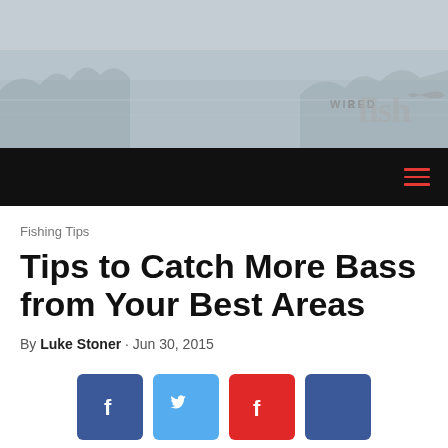[Figure (photo): Website header banner with lake/water landscape background, misty water and trees visible. Wired2Fish logo in bottom right corner.]
Navigation bar with hamburger menu icon
Fishing Tips
Tips to Catch More Bass from Your Best Areas
By Luke Stoner · Jun 30, 2015
[Figure (infographic): Social sharing icons: Facebook (dark blue), Twitter (light blue), Flipboard (red with white F), LinkedIn/Facebook (dark blue)]